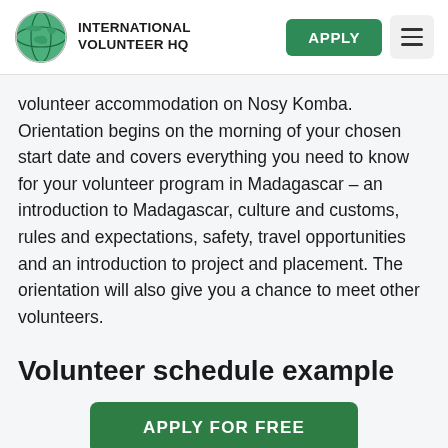INTERNATIONAL VOLUNTEER HQ
volunteer accommodation on Nosy Komba. Orientation begins on the morning of your chosen start date and covers everything you need to know for your volunteer program in Madagascar – an introduction to Madagascar, culture and customs, rules and expectations, safety, travel opportunities and an introduction to project and placement. The orientation will also give you a chance to meet other volunteers.
Volunteer schedule example